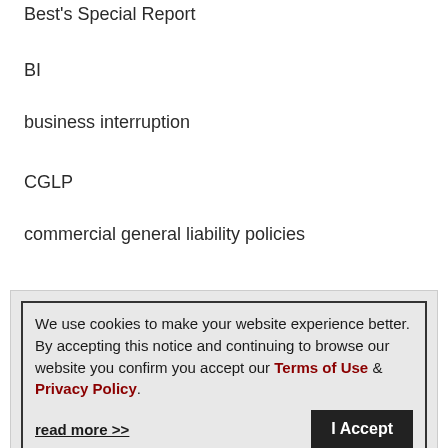Best's Special Report
BI
business interruption
CGLP
commercial general liability policies
cyber
We use cookies to make your website experience better. By accepting this notice and continuing to browse our website you confirm you accept our Terms of Use & Privacy Policy. read more >> I Accept